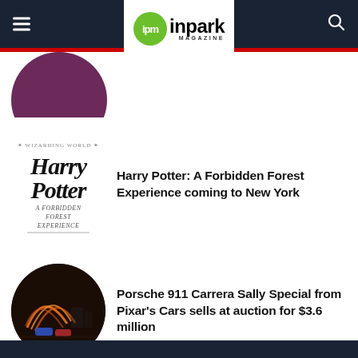ipm inpark MAGAZINE
[Figure (logo): IPM InPark Magazine logo with green circle and bold text]
[Figure (illustration): Partial purple circle thumbnail at top of article list]
[Figure (logo): Harry Potter: A Forbidden Forest Experience logo]
Harry Potter: A Forbidden Forest Experience coming to New York
[Figure (photo): Circular photo of cars with light trails at night, drive-in or outdoor event]
Porsche 911 Carrera Sally Special from Pixar’s Cars sells at auction for $3.6 million